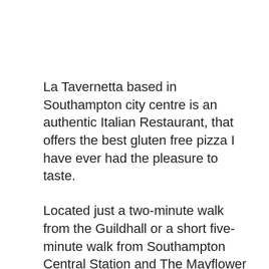La Tavernetta based in Southampton city centre is an authentic Italian Restaurant, that offers the best gluten free pizza I have ever had the pleasure to taste.
Located just a two-minute walk from the Guildhall or a short five-minute walk from Southampton Central Station and The Mayflower Theatre.
It is the perfect place to enjoy some traditional Italian food if you are ever visiting the area. I visited the restaurant on Thursday 12th November at around 8 pm with 6 of my friends, 3 of which like myself are